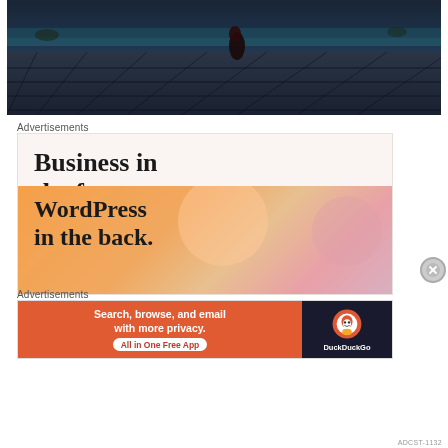[Figure (screenshot): Dark blue-toned screenshot of a video game scene with stone tile floor pattern and a figure in the distance near water under a dark sky]
Advertisements
[Figure (illustration): Advertisement banner with white/cream top section reading 'Business in the front...' and orange/peach gradient bottom section reading 'WordPress in the back.']
Advertisements
[Figure (illustration): DuckDuckGo advertisement: left orange section reads 'Search, browse, and email with more privacy. All in One Free App', right dark section shows DuckDuckGo logo and duck icon]
ADCST-1132